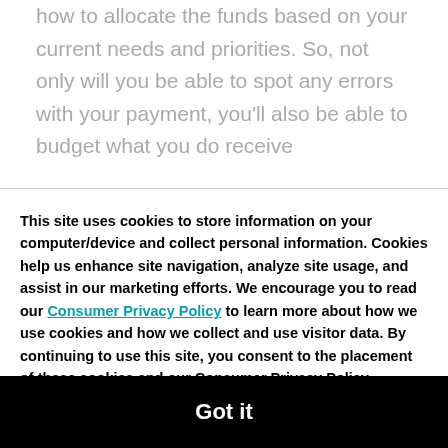how to allocate the funds based on your current needs and priorities. So, not only will you be able to spot any errors with your payment, you'll also be able to budget what you do receive
This site uses cookies to store information on your computer/device and collect personal information. Cookies help us enhance site navigation, analyze site usage, and assist in our marketing efforts. We encourage you to read our Consumer Privacy Policy to learn more about how we use cookies and how we collect and use visitor data. By continuing to use this site, you consent to the placement of these cookies and our Consumer Privacy Policy.
Got it